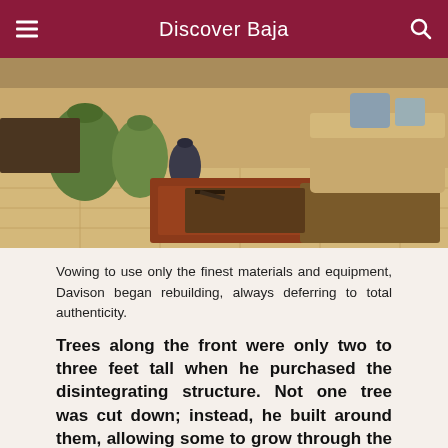Discover Baja
[Figure (photo): Interior room photo showing a tiled floor with colorful rugs, large decorative pottery vases, a wooden coffee table, and tan leather seating in what appears to be a Mexican-style home or resort]
Vowing to use only the finest materials and equipment, Davison began rebuilding, always deferring to total authenticity.
Trees along the front were only two to three feet tall when he purchased the disintegrating structure. Not one tree was cut down; instead, he built around them, allowing some to grow through the roof. He put in drip systems and then he began constructing the walls.
He leveled everything except the main house and a couple of the bungalows. Then he installed a new electrical